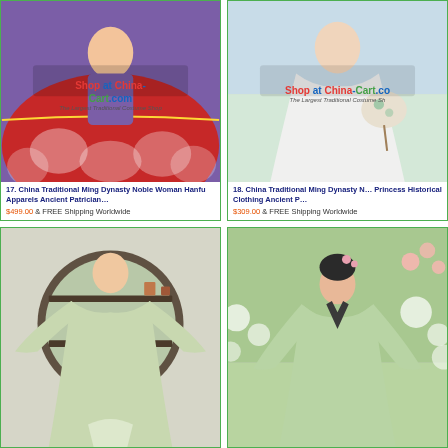[Figure (photo): China Traditional Ming Dynasty Noble Woman Hanfu costume with red embroidered skirt and purple top, with Shop at China-Cart.com watermark]
17. China Traditional Ming Dynasty Noble Woman Hanfu Apparels Ancient Patrician…
$499.00 & FREE Shipping Worldwide
[Figure (photo): China Traditional Ming Dynasty Noble Princess in white historical clothing holding a round fan, with Shop at China-Cart.com watermark]
18. China Traditional Ming Dynasty Noble Princess Historical Clothing Ancient P…
$309.00 & FREE Shipping Worldwide
[Figure (photo): Woman wearing light green traditional Chinese Hanfu robe standing in front of a round wooden window frame]
[Figure (photo): Woman in light green traditional Chinese Hanfu clothing standing outdoors among flowers]